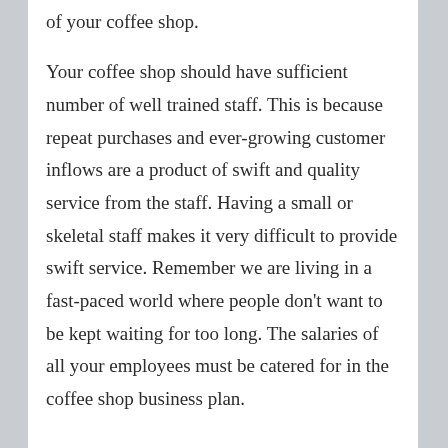of your coffee shop.
Your coffee shop should have sufficient number of well trained staff. This is because repeat purchases and ever-growing customer inflows are a product of swift and quality service from the staff. Having a small or skeletal staff makes it very difficult to provide swift service. Remember we are living in a fast-paced world where people don't want to be kept waiting for too long. The salaries of all your employees must be catered for in the coffee shop business plan.
MARKET
The market for coffee is huge and ever